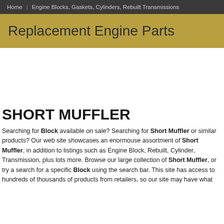Home | Engine Blocks, Gaskets, Cylinders, Rebuilt Transmissions
Replacement Engine Parts
SHORT MUFFLER
Searching for Block available on sale? Searching for Short Muffler or similar products? Our web site showcases an enormouse assortment of Short Muffler, in addition to listings such as Engine Block, Rebuilt, Cylinder, Transmission, plus lots more. Browse our large collection of Short Muffler, or try a search for a specific Block using the search bar. This site has access to hundreds of thousands of products from retailers, so our site may have what